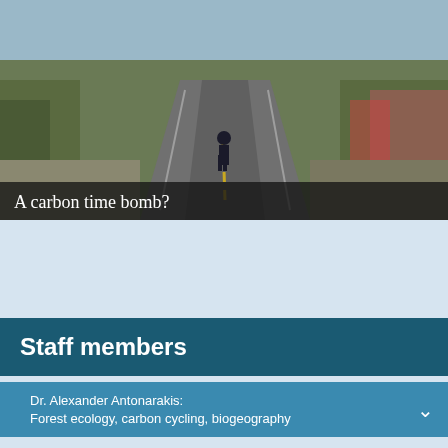[Figure (photo): A person walking away from camera on a winding road through green and brown scrubland vegetation]
A carbon time bomb?
Staff members
Dr. Alexander Antonarakis: Forest ecology, carbon cycling, biogeography
Dr Mick Frogley: Quaternary palaeoenvironments; lake sediments; biogeography
Prof Dom Kniveton: